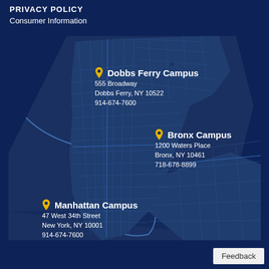PRIVACY POLICY
Consumer Information
[Figure (map): Map of New York area showing three campus locations: Dobbs Ferry Campus, Bronx Campus, and Manhattan Campus, with pin markers and address information overlaid on a dark navy street map.]
Dobbs Ferry Campus
555 Broadway
Dobbs Ferry, NY 10522
914-674-7600
Bronx Campus
1200 Waters Place
Bronx, NY 10461
718-678-8899
Manhattan Campus
47 West 34th Street
New York, NY 10001
914-674-7600
Feedback